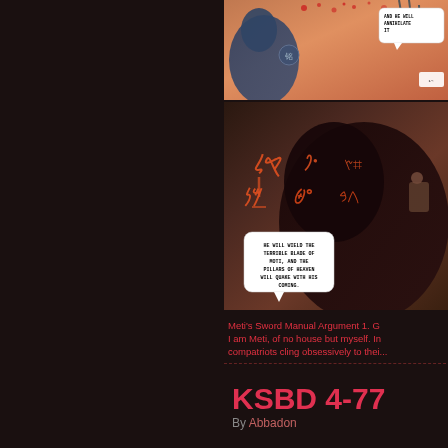[Figure (illustration): Comic page panels. Top panel shows figures with a speech bubble reading 'AND HE WILL ANNIHILATE IT'. Bottom panel shows a dark scene with glowing orange rune-like symbols and a speech bubble reading 'HE WILL WIELD THE TERRIBLE BLADE OF MOTI, AND THE PILLARS OF HEAVEN WILL QUAKE WITH HIS COMING.']
Meti's Sword Manual Argument 1. G... I am Meti, of no house but myself. In... compatriots cling obsessively to thei...
KSBD 4-77
By Abbadon